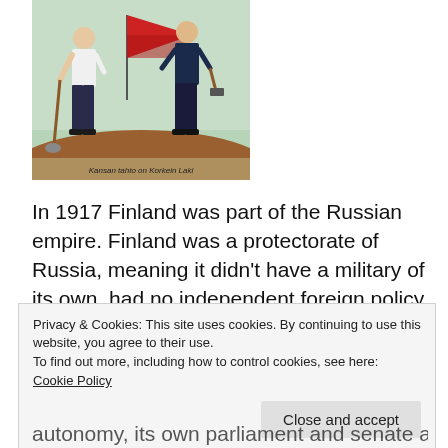[Figure (illustration): A colorful propaganda-style illustration showing two figures: a worker in white shirt holding a shovel on the left, and another figure in dark clothing holding a hammer on the right, with a large red flag between them. Caption at bottom reads 'Kansan tahto on Korkein Laki'.]
Kansan tahto on Korkein Laki
In 1917 Finland was part of the Russian empire. Finland was a protectorate of Russia, meaning it didn't have a military of its own, had no independent foreign policy or economic policy and was ruled by a Russian governor
Privacy & Cookies: This site uses cookies. By continuing to use this website, you agree to their use.
To find out more, including how to control cookies, see here: Cookie Policy
autonomy, its own parliament and senate although they